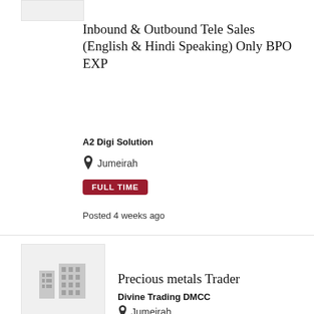[Figure (logo): Company logo placeholder box (light gray, top of first card)]
Inbound & Outbound Tele Sales (English & Hindi Speaking) Only BPO EXP
A2 Digi Solution
Jumeirah
FULL TIME
Posted 4 weeks ago
[Figure (illustration): Building/office placeholder icon in gray on light gray background]
Precious metals Trader
Divine Trading DMCC
Jumeirah